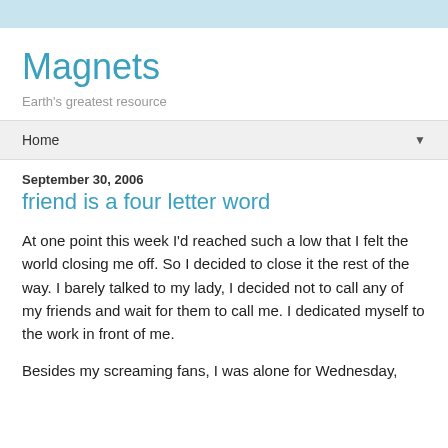Magnets
Earth's greatest resource
Home
September 30, 2006
friend is a four letter word
At one point this week I'd reached such a low that I felt the world closing me off. So I decided to close it the rest of the way. I barely talked to my lady, I decided not to call any of my friends and wait for them to call me. I dedicated myself to the work in front of me.
Besides my screaming fans, I was alone for Wednesday,